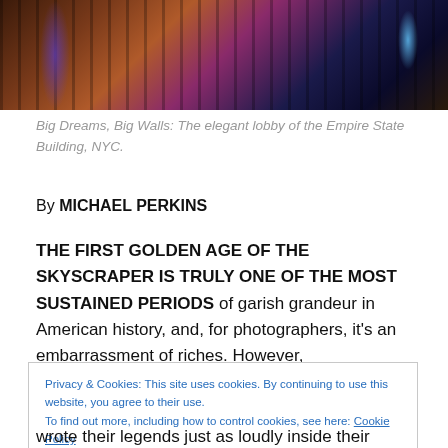[Figure (photo): Dark interior photo of the elegant lobby of the Empire State Building, NYC, with purple and blue lighting and tall architectural columns.]
Big Dreams, Big Walls: The elegant lobby of the Empire State Building, NYC.
By MICHAEL PERKINS
THE FIRST GOLDEN AGE OF THE SKYSCRAPER IS TRULY ONE OF THE MOST SUSTAINED PERIODS of garish grandeur in American history, and, for photographers, it's an embarrassment of riches. However,
Privacy & Cookies: This site uses cookies. By continuing to use this website, you agree to their use.
To find out more, including how to control cookies, see here: Cookie Policy
[Close and accept]
wrote their legends just as loudly inside their palaces'